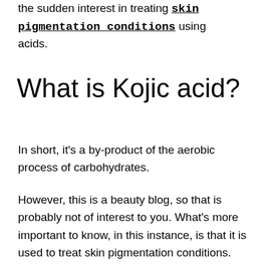the sudden interest in treating skin pigmentation conditions using acids.
What is Kojic acid?
In short, it's a by-product of the aerobic process of carbohydrates.
However, this is a beauty blog, so that is probably not of interest to you. What's more important to know, in this instance, is that it is used to treat skin pigmentation conditions.